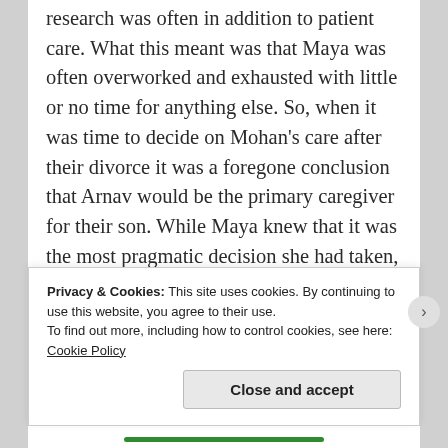research was often in addition to patient care. What this meant was that Maya was often overworked and exhausted with little or no time for anything else. So, when it was time to decide on Mohan's care after their divorce it was a foregone conclusion that Arnav would be the primary caregiver for their son. While Maya knew that it was the most pragmatic decision she had taken, it was not an easy one on her heart. Guilt and recriminations took residence in her as she lived her decision. Was she a poor mother? Did she place her career above her own child? There were
Privacy & Cookies: This site uses cookies. By continuing to use this website, you agree to their use.
To find out more, including how to control cookies, see here: Cookie Policy
Close and accept